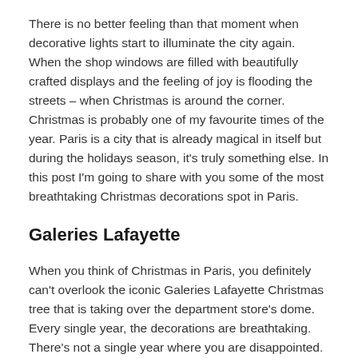There is no better feeling than that moment when decorative lights start to illuminate the city again. When the shop windows are filled with beautifully crafted displays and the feeling of joy is flooding the streets – when Christmas is around the corner. Christmas is probably one of my favourite times of the year. Paris is a city that is already magical in itself but during the holidays season, it's truly something else. In this post I'm going to share with you some of the most breathtaking Christmas decorations spot in Paris.
Galeries Lafayette
When you think of Christmas in Paris, you definitely can't overlook the iconic Galeries Lafayette Christmas tree that is taking over the department store's dome. Every single year, the decorations are breathtaking. There's not a single year where you are disappointed.